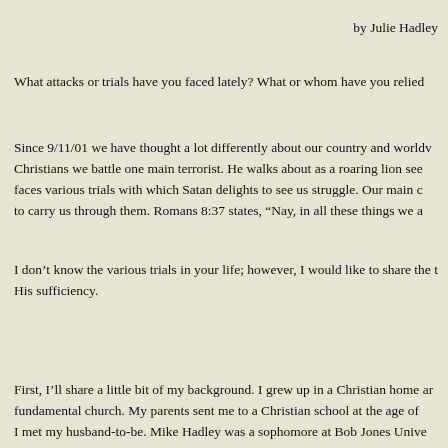by Julie Hadley
What attacks or trials have you faced lately? What or whom have you relied
Since 9/11/01 we have thought a lot differently about our country and worldv Christians we battle one main terrorist. He walks about as a roaring lion see faces various trials with which Satan delights to see us struggle. Our main c to carry us through them. Romans 8:37 states, “Nay, in all these things we a
I don’t know the various trials in your life; however, I would like to share the t His sufficiency.
First, I’ll share a little bit of my background. I grew up in a Christian home ar fundamental church. My parents sent me to a Christian school at the age of I met my husband-to-be. Mike Hadley was a sophomore at Bob Jones Unive married in August of 1979. Mike finished his degree in 1980. He was then of University. I had wanted to work at BJU when he was a student, and now Gc as well. I was hired in April of 1980. The Lord blessed us with two children–
My life changed drastically in July 1991 when my husband contracted cance but the Lord did. (This only happens to other people, right?) Reality struck a underwent an aggressive regimen for his condition. Without the regimen he